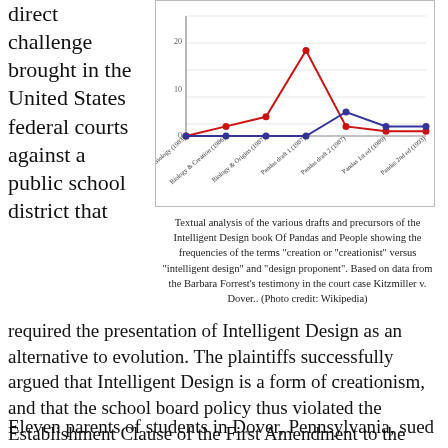direct challenge brought in the United States federal courts against a public school district that
[Figure (line-chart): Frequencies of creation/creationist vs intelligent design/design proponent terms across drafts of Of Pandas and People]
Textual analysis of the various drafts and precursors of the Intelligent Design book Of Pandas and People showing the frequencies of the terms "creation or "creationist" versus "intelligent design" and "design proponent". Based on data from the Barbara Forrest's testimony in the court case Kitzmiller v. Dover.. (Photo credit: Wikipedia)
required the presentation of Intelligent Design as an alternative to evolution. The plaintiffs successfully argued that Intelligent Design is a form of creationism, and that the school board policy thus violated the Establishment Clause of the First Amendment to the United States Constitution.
Eleven parents of students in Dover, Pennsylvania, sued